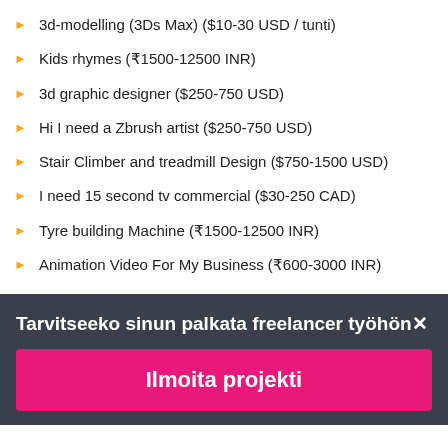3d-modelling (3Ds Max) ($10-30 USD / tunti)
Kids rhymes (₹1500-12500 INR)
3d graphic designer ($250-750 USD)
Hi I need a Zbrush artist ($250-750 USD)
Stair Climber and treadmill Design ($750-1500 USD)
I need 15 second tv commercial ($30-250 CAD)
Tyre building Machine (₹1500-12500 INR)
Animation Video For My Business (₹600-3000 INR)
Tarvitseeko sinun palkata freelancer työhön✕
Ilmoita projekti